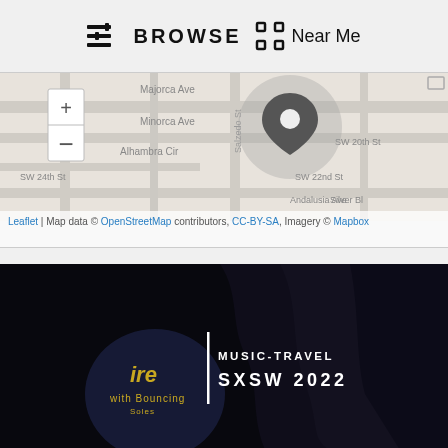BROWSE  Near Me
[Figure (map): Interactive street map showing Majorca Ave, Minorca Ave, Alhambra Cir, SW 24th St, SW 22nd St, SW 20th St, Andalusia Ave, Silver Bl, Salzedo St area with a location pin marker and zoom controls. Attribution: Leaflet | Map data © OpenStreetMap contributors, CC-BY-SA, Imagery © Mapbox]
[Figure (photo): Dark concert/event photo with overlay text reading MUSIC-TRAVEL and SXSW 2022. Visible in the foreground is a Dr. Martens branded item with text 'with Bouncing Soles'. A white vertical line separates the text from the image.]